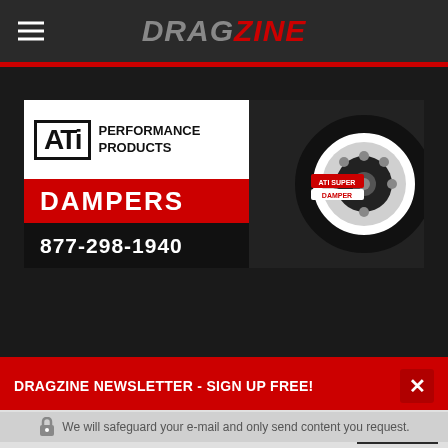DRAGZINE
[Figure (illustration): ATI Performance Products advertisement banner showing ATI logo, 'PERFORMANCE PRODUCTS', 'DAMPERS' in red bar, phone number 877-298-1940, and ATI Super Damper wheel image on right side]
DRAGZINE NEWSLETTER - SIGN UP FREE!
Enter your email address...
SIGN UP
We will safeguard your e-mail and only send content you request.